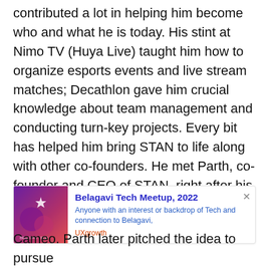contributed a lot in helping him become who and what he is today. His stint at Nimo TV (Huya Live) taught him how to organize esports events and live stream matches; Decathlon gave him crucial knowledge about team management and conducting turn-key projects. Every bit has helped him bring STAN to life along with other co-founders. He met Parth, co-founder and CEO of STAN, right after his time with Nimo TV (Huya Live) where he
[Figure (infographic): Advertisement card for Belagavi Tech Meetup, 2022 with a purple-pink gradient image on the left, title in blue bold, description text, and UXgrowth source label. Close button (×) in top right.]
Cameo. Parth later pitched the idea to pursue